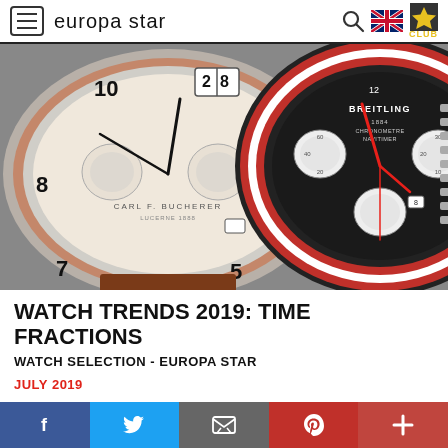europa star
[Figure (photo): Two luxury watches side by side: a Carl F. Bucherer watch with rose gold case and cream dial on the left, and a Breitling Navitimer chronograph with black dial and red accents on the right.]
WATCH TRENDS 2019: TIME FRACTIONS
WATCH SELECTION - EUROPA STAR
JULY 2019
The ability to display tiny fractions of time is without a doubt one of horology's most important conquests. The chronograph was a crucial